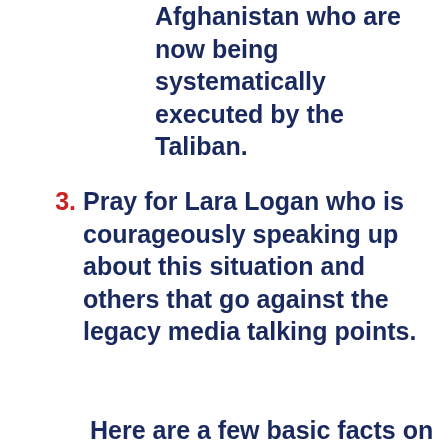Afghanistan who are now being systematically executed by the Taliban.
3. Pray for Lara Logan who is courageously speaking up about this situation and others that go against the legacy media talking points.
From Lara Logan:
VIEW COMMENTS (31)
Here are a few basic facts on